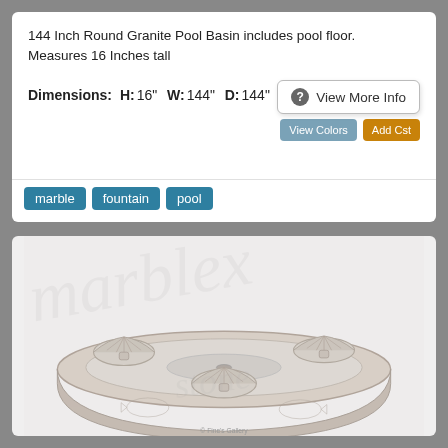144 Inch Round Granite Pool Basin includes pool floor. Measures 16 Inches tall
Dimensions:  H: 16" W: 144" D: 144"
View More Info
marble
fountain
pool
[Figure (photo): Round granite pool basin with shell-shaped decorative bowls on the rim, photographed from above at an angle, with a watermark overlay reading 'marblex' or similar, and 'Fine's Gallery' caption at the bottom.]